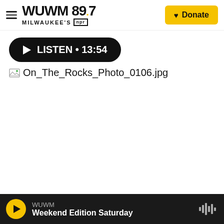WUWM 89.7 Milwaukee's NPR — Donate
[Figure (other): Audio player button: LISTEN • 13:54 on dark rounded rectangle]
[Figure (other): Broken image placeholder showing filename: On_The_Rocks_Photo_0106.jpg]
Apple TV+ /
Rashida Jones and Bill Murray star in "On The Rocks," now streaming on
[Figure (other): WUWM audio player bar at bottom: play button, WUWM label, Weekend Edition Saturday, waveform icon]